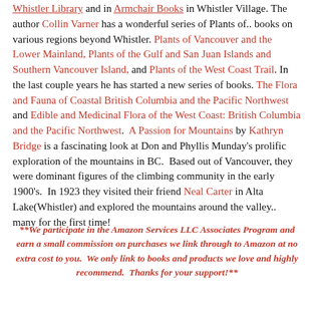and in Whistler Village. The author Collin Varner has a wonderful series of Plants of.. books on various regions beyond Whistler. Plants of Vancouver and the Lower Mainland, Plants of the Gulf and San Juan Islands and Southern Vancouver Island, and Plants of the West Coast Trail. In the last couple years he has started a new series of books. The Flora and Fauna of Coastal British Columbia and the Pacific Northwest and Edible and Medicinal Flora of the West Coast: British Columbia and the Pacific Northwest. A Passion for Mountains by Kathryn Bridge is a fascinating look at Don and Phyllis Munday's prolific exploration of the mountains in BC. Based out of Vancouver, they were dominant figures of the climbing community in the early 1900's. In 1923 they visited their friend Neal Carter in Alta Lake(Whistler) and explored the mountains around the valley.. many for the first time!
**We participate in the Amazon Services LLC Associates Program and earn a small commission on purchases we link through to Amazon at no extra cost to you. We only link to books and products we love and highly recommend. Thanks for your support!**